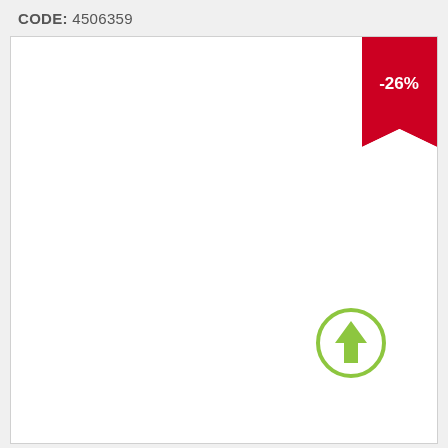CODE: 4506359
[Figure (other): Product card with a -26% discount ribbon badge in red at top right corner, and a green circular upward arrow icon near the bottom right area of the card.]